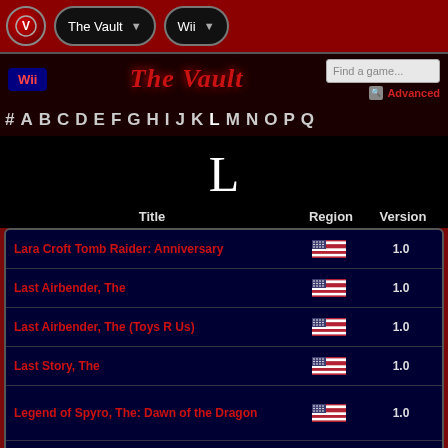The Vault | Wii
[Figure (screenshot): Website navigation bar with logo, The Vault dropdown, Wii dropdown, search box, Wii section header, The Vault title, alphabet navigation, large letter L display]
| Title | Region | Version |
| --- | --- | --- |
| Lara Croft Tomb Raider: Anniversary | US Flag | 1.0 |
| Last Airbender, The | US Flag | 1.0 |
| Last Airbender, The (Toys R Us) | US Flag | 1.0 |
| Last Story, The | US Flag | 1.0 |
| Legend of Spyro, The: Dawn of the Dragon | US Flag | 1.0 |
| Legend of Spyro, The: The Eternal Night | US Flag | 1.0 |